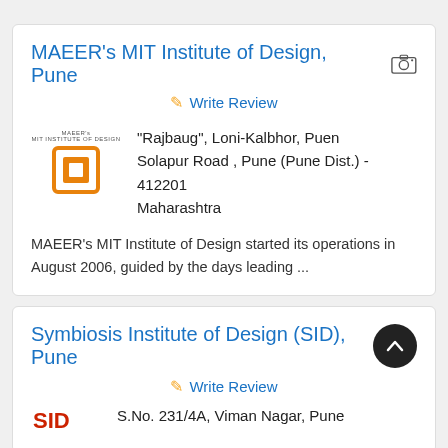MAEER's MIT Institute of Design, Pune
Write Review
[Figure (logo): MIT Institute of Design logo with orange square icon and institution name text]
"Rajbaug", Loni-Kalbhor, Puen Solapur Road , Pune (Pune Dist.) - 412201
Maharashtra
MAEER's MIT Institute of Design started its operations in August 2006, guided by the days leading ...
Symbiosis Institute of Design (SID), Pune
Write Review
[Figure (logo): Symbiosis Institute of Design logo (red/orange text)]
S.No. 231/4A, Viman Nagar, Pune